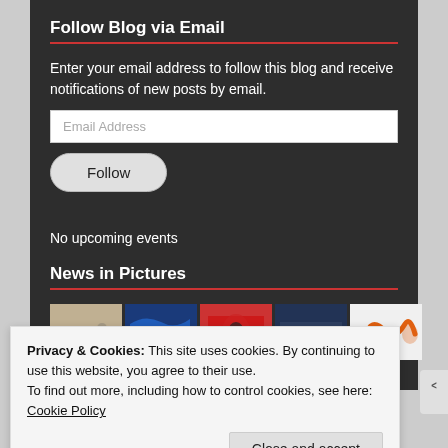Follow Blog via Email
Enter your email address to follow this blog and receive notifications of new posts by email.
No upcoming events
News in Pictures
[Figure (photo): Row of five thumbnail photos for News in Pictures section]
Privacy & Cookies: This site uses cookies. By continuing to use this website, you agree to their use.
To find out more, including how to control cookies, see here: Cookie Policy